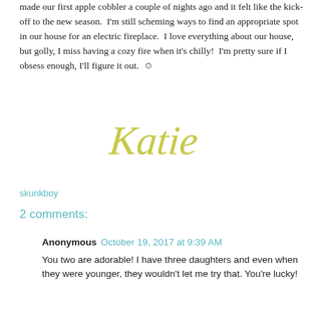made our first apple cobbler a couple of nights ago and it felt like the kick-off to the new season.  I'm still scheming ways to find an appropriate spot in our house for an electric fireplace.  I love everything about our house, but golly, I miss having a cozy fire when it's chilly!  I'm pretty sure if I obsess enough, I'll figure it out.  ☺
[Figure (illustration): Cursive signature reading 'Katie' in yellow-green script]
skunkboy
2 comments:
Anonymous  October 19, 2017 at 9:39 AM
You two are adorable! I have three daughters and even when they were younger, they wouldn't let me try that. You're lucky!